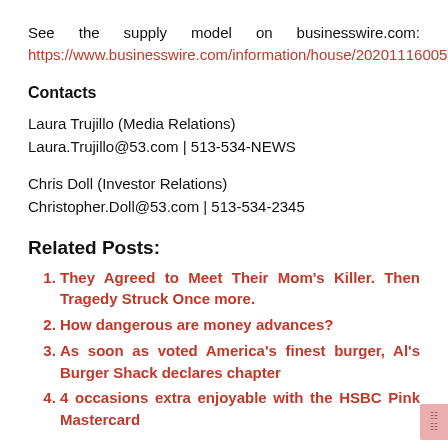See the supply model on businesswire.com: https://www.businesswire.com/information/house/20201116005759/en/
Contacts
Laura Trujillo (Media Relations)
Laura.Trujillo@53.com | 513-534-NEWS
Chris Doll (Investor Relations)
Christopher.Doll@53.com | 513-534-2345
Related Posts:
They Agreed to Meet Their Mom's Killer. Then Tragedy Struck Once more.
How dangerous are money advances?
As soon as voted America's finest burger, Al's Burger Shack declares chapter
4 occasions extra enjoyable with the HSBC Pink Mastercard